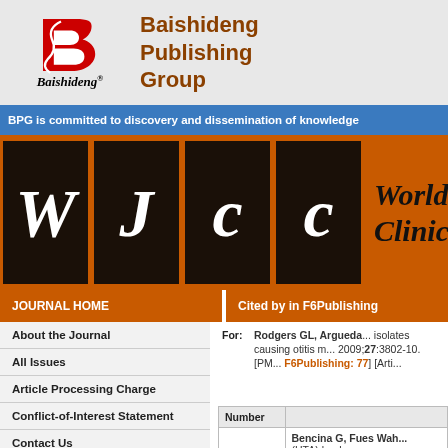[Figure (logo): Baishideng Publishing Group logo with red B icon and stylized Baishideng text, alongside publisher name in brown]
BPG is committed to discovery and dissemination of knowledge
[Figure (logo): WJCC - World Journal of Clinical Cases banner with large italic letters W J C C on dark backgrounds and journal name in italic]
JOURNAL HOME
Cited by in F6Publishing
About the Journal
All Issues
Article Processing Charge
Conflict-of-Interest Statement
Contact Us
Copyright License Agreement
For: Rodgers GL, Argueda... isolates causing otitis m... 2009;27:3802-10. [PM... F6Publishing: 77] [Artic...
| Number |  |
| --- | --- |
|  | Bencina G, Fues Wah... (HTA) landscape eva... |